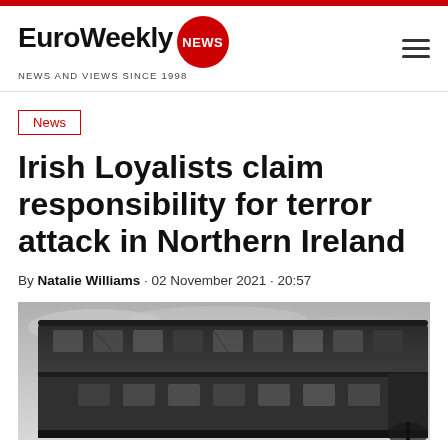EuroWeekly NEWS — NEWS AND VIEWS SINCE 1998
News
Irish Loyalists claim responsibility for terror attack in Northern Ireland
By Natalie Williams · 02 November 2021 · 20:57
[Figure (photo): Black and white photograph of a burnt-out double-decker bus, windows broken, against a cloudy sky]